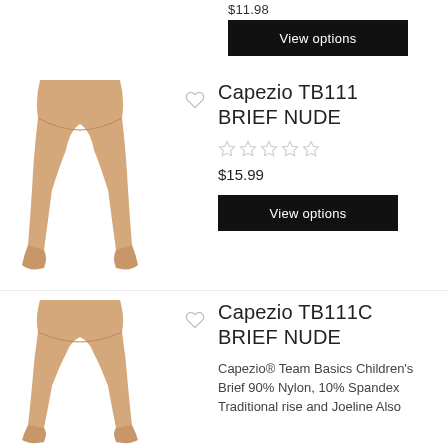$11.98
View options
[Figure (photo): Product image of Capezio TB111 nude dance brief tights on mannequin legs]
Capezio TB111 BRIEF NUDE
$15.99
View options
[Figure (photo): Product image of Capezio TB111C nude dance brief tights on mannequin legs]
Capezio TB111C BRIEF NUDE
Capezio® Team Basics Children's Brief 90% Nylon, 10% Spandex Traditional rise and Joeline Also